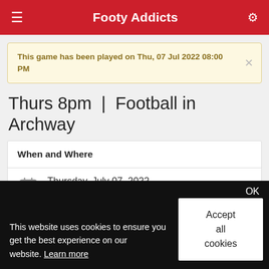Footy Addicts
This game has been played on Thu, 07 Jul 2022 08:00 PM
Thurs 8pm | Football in Archway
When and Where
Thursday, July 07, 2022
Repeats Weekly on Thursdays
8:00 PM
This website uses cookies to ensure you get the best experience on our website. Learn more
OK
Accept all cookies